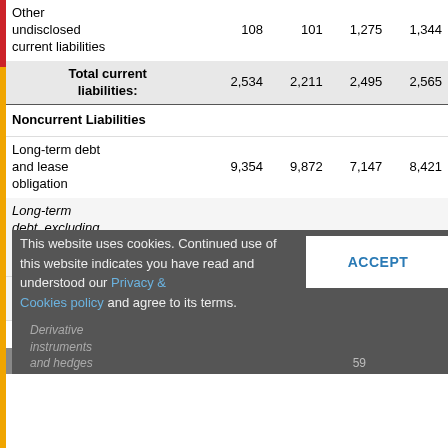|  | Col1 | Col2 | Col3 | Col4 |
| --- | --- | --- | --- | --- |
| Other undisclosed current liabilities | 108 | 101 | 1,275 | 1,344 |
| Total current liabilities: | 2,534 | 2,211 | 2,495 | 2,565 |
| Noncurrent Liabilities |  |  |  |  |
| Long-term debt and lease obligation | 9,354 | 9,872 | 7,147 | 8,421 |
| Long-term debt, excluding current maturities | 8,327 | 8,737 | 7,147 | 8,421 |
| Operating lease, liability | 1,027 | 1,135 |  | × |
| Liabilities, other |  |  |  |  |
| than long-term |  |  | 59 |  |
| Derivative instruments |  |  |  |  |
| and hedges |  |  | 59 |  |
This website uses cookies. Continued use of this website indicates you have read and understood our Privacy & Cookies policy and agree to its terms.